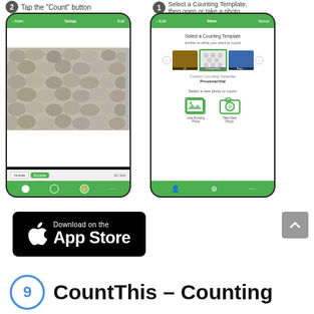[Figure (screenshot): Two smartphone screenshots showing a counting app. Left phone shows step 2: 'Tap the Count button' with a photo of rocks/pebbles and Include/Exclude buttons. Right phone shows step 1: 'Select a Counting Template, then open or take a photo' with template selection carousel and photo options.]
[Figure (logo): Download on the App Store badge with Apple logo]
CountThis – Counting